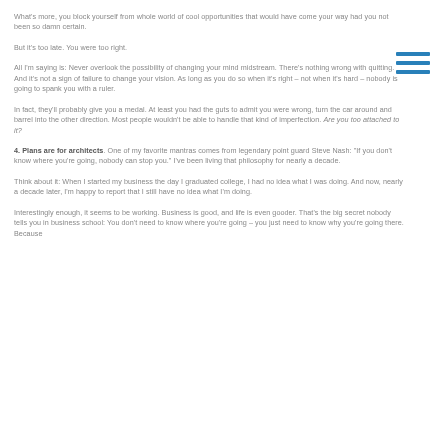What's more, you block yourself from whole world of cool opportunities that would have come your way had you not been so damn certain.
But it's too late. You were too right.
All I'm saying is: Never overlook the possibility of changing your mind midstream. There's nothing wrong with quitting. And it's not a sign of failure to change your vision. As long as you do so when it's right – not when it's hard – nobody is going to spank you with a ruler.
In fact, they'll probably give you a medal. At least you had the guts to admit you were wrong, turn the car around and barrel into the other direction. Most people wouldn't be able to handle that kind of imperfection. Are you too attached to it?
4. Plans are for architects. One of my favorite mantras comes from legendary point guard Steve Nash: "If you don't know where you're going, nobody can stop you." I've been living that philosophy for nearly a decade.
Think about it: When I started my business the day I graduated college, I had no idea what I was doing. And now, nearly a decade later, I'm happy to report that I still have no idea what I'm doing.
Interestingly enough, it seems to be working. Business is good, and life is even gooder. That's the big secret nobody tells you in business school: You don't need to know where you're going – you just need to know why you're going there. Because